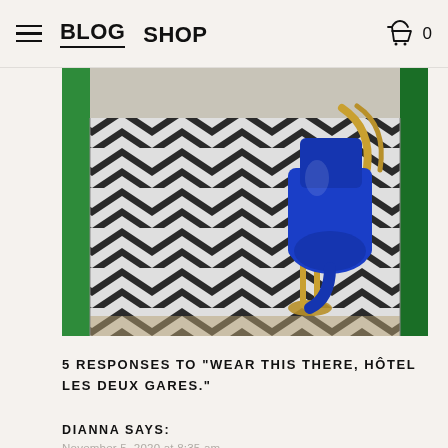BLOG  SHOP  0
[Figure (photo): Interior photo showing black and white chevron/herringbone marble tile floor with green walls and a cobalt blue chair with gold base]
5 RESPONSES TO "WEAR THIS THERE, HÔTEL LES DEUX GARES."
DIANNA SAYS:
November 5, 2020 at 8:35 am